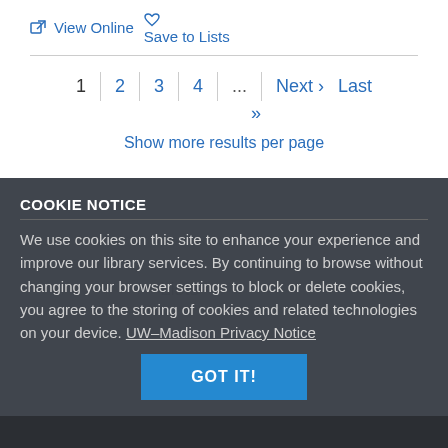View Online  Save to Lists
1  2  3  4  ...  Next »  Last
»
Show more results per page
COOKIE NOTICE
We use cookies on this site to enhance your experience and improve our library services. By continuing to browse without changing your browser settings to block or delete cookies, you agree to the storing of cookies and related technologies on your device. UW–Madison Privacy Notice
GOT IT!